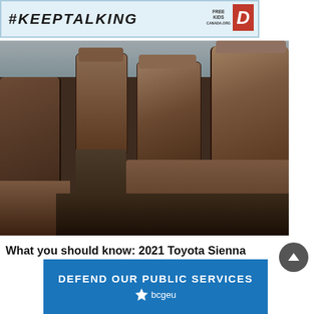[Figure (screenshot): #KEEPTALKING banner with Free Kids logo and D symbol]
[Figure (photo): Interior photo of a 2021 Toyota Sienna minivan showing brown leather captain's chairs and seating]
What you should know: 2021 Toyota Sienna
[Figure (infographic): BCGEU Defend Our Public Services banner in blue]